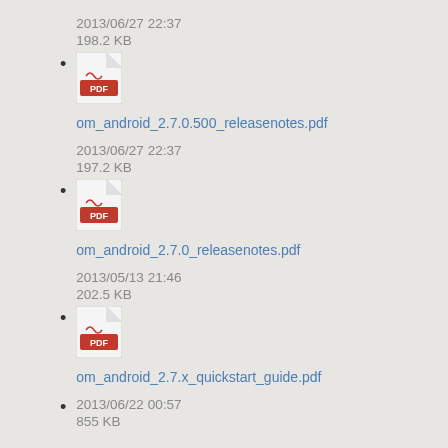2013/06/27 22:37
198.2 KB
om_android_2.7.0.500_releasenotes.pdf
2013/06/27 22:37
197.2 KB
om_android_2.7.0_releasenotes.pdf
2013/05/13 21:46
202.5 KB
om_android_2.7.x_quickstart_guide.pdf
2013/06/22 00:57
855 KB